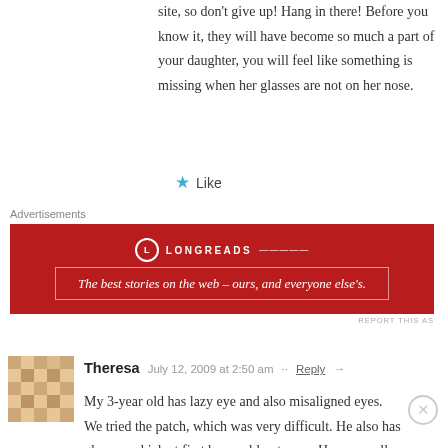site, so don't give up! Hang in there! Before you know it, they will have become so much a part of your daughter, you will feel like something is missing when her glasses are not on her nose.
★ Like
Advertisements
[Figure (screenshot): Longreads advertisement banner: dark red background with Longreads logo and tagline 'The best stories on the web – ours, and everyone else's.']
REPORT THIS AD
[Figure (illustration): User avatar for Theresa — mosaic/diamond pattern in tan and brown tones]
Theresa   July 12, 2009 at 2:50 am · · Reply →
My 3-year old has lazy eye and also misaligned eyes. We tried the patch, which was very difficult. He also has glasses, which at first he would not wear. He was really complaining about seeing two of everything (which was heart breaking to me) and for the past couple
Advertisements
[Figure (screenshot): ULTA Beauty advertisement banner with beauty product images — lips with red lipstick, makeup brush, eye with brown eye shadow, ULTA logo, eye with black eyeliner, and 'SHOP NOW' button.]